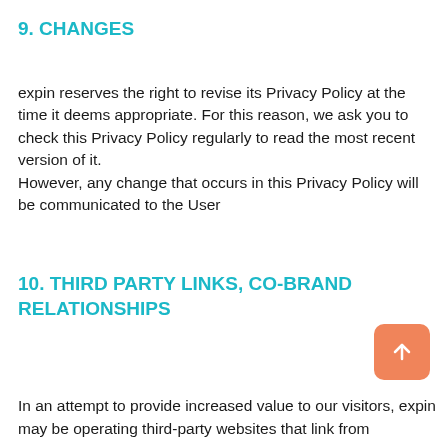9. CHANGES
expin reserves the right to revise its Privacy Policy at the time it deems appropriate. For this reason, we ask you to check this Privacy Policy regularly to read the most recent version of it.
However, any change that occurs in this Privacy Policy will be communicated to the User
10. THIRD PARTY LINKS, CO-BRAND RELATIONSHIPS
In an attempt to provide increased value to our visitors, expin may be operating third-party websites that link from